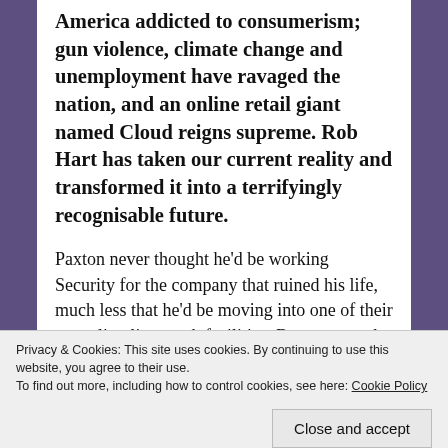America addicted to consumerism; gun violence, climate change and unemployment have ravaged the nation, and an online retail giant named Cloud reigns supreme. Rob Hart has taken our current reality and transformed it into a terrifyingly recognisable future.
Paxton never thought he'd be working Security for the company that ruined his life, much less that he'd be moving into one of their sprawling live-work facilities. But compared to what's left outside, perhaps Cloud isn't so bad. Better still, through his work he meets Zinnia, who fills him
Privacy & Cookies: This site uses cookies. By continuing to use this website, you agree to their use.
To find out more, including how to control cookies, see here: Cookie Policy
Close and accept
might just be her meal ticket.